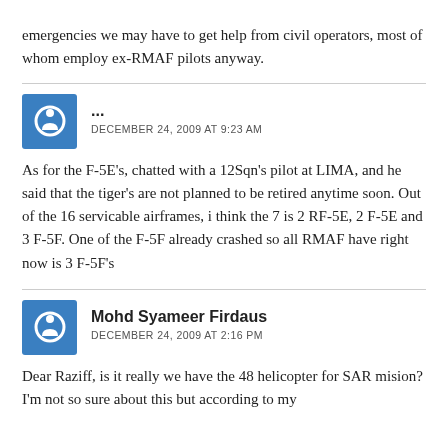emergencies we may have to get help from civil operators, most of whom employ ex-RMAF pilots anyway.
...
DECEMBER 24, 2009 AT 9:23 AM
As for the F-5E's, chatted with a 12Sqn's pilot at LIMA, and he said that the tiger's are not planned to be retired anytime soon. Out of the 16 servicable airframes, i think the 7 is 2 RF-5E, 2 F-5E and 3 F-5F. One of the F-5F already crashed so all RMAF have right now is 3 F-5F's
Mohd Syameer Firdaus
DECEMBER 24, 2009 AT 2:16 PM
Dear Raziff, is it really we have the 48 helicopter for SAR mision? I'm not so sure about this but according to my